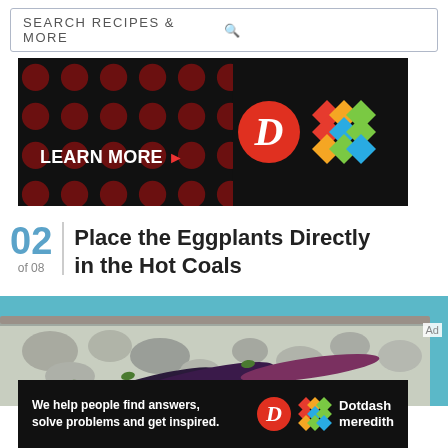SEARCH RECIPES & MORE
[Figure (screenshot): Dark advertisement banner with red polka dots background, LEARN MORE text with arrow, a red circle D logo and a colorful grid-pattern logo]
02 of 08  Place the Eggplants Directly in the Hot Coals
[Figure (photo): Eggplants placed directly in hot coals/ash in a grill or fire pit]
Ad
[Figure (screenshot): Dotdash Meredith bottom advertisement banner: We help people find answers, solve problems and get inspired. With D logo and colorful grid logo and Dotdash meredith text]